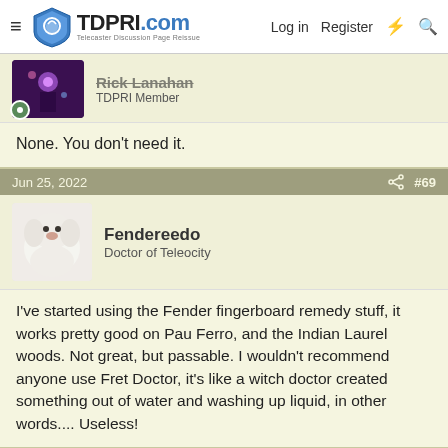TDPRI.com — Telecaster Discussion Page Reissue | Log in | Register
Rick Lanahan
TDPRI Member
None. You don't need it.
Jun 25, 2022  #69
Fendereedo
Doctor of Teleocity
I've started using the Fender fingerboard remedy stuff, it works pretty good on Pau Ferro, and the Indian Laurel woods. Not great, but passable. I wouldn't recommend anyone use Fret Doctor, it's like a witch doctor created something out of water and washing up liquid, in other words.... Useless!
Jun 25, 2022  #70
Dismalhead
Poster Extraordinaire